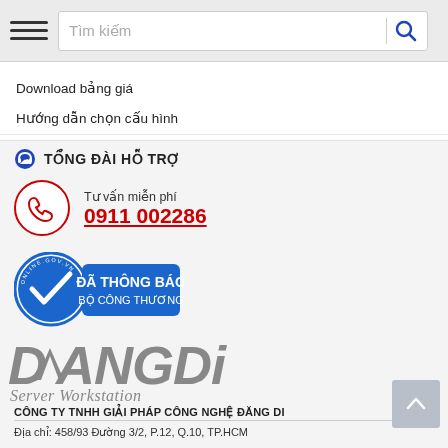[Figure (screenshot): Mobile app search bar with hamburger menu icon on the left, 'Tìm kiếm' placeholder text input field, and blue search magnifier icon on the right]
Download bảng giá
Hướng dẫn chọn cấu hình
TỔNG ĐÀI HỖ TRỢ
Tư vấn miễn phí
0911 002286
[Figure (logo): Đã thông báo Bộ Công Thương badge with blue checkmark circle and blue rectangular label]
[Figure (logo): DắNGDi Server Workstation logo in grey italic font]
CÔNG TY TNHH GIẢI PHÁP CÔNG NGHỆ ĐĂNG DI
Địa chỉ: 458/93 Đường 3/2, P.12, Q.10, TP.HCM